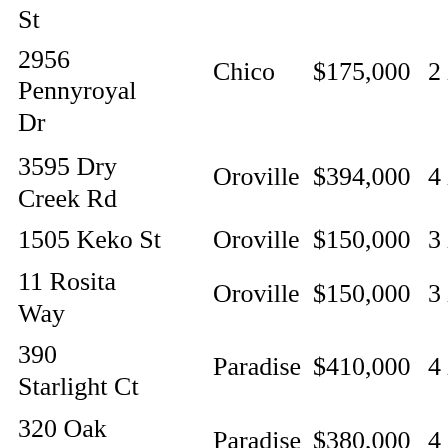| Address | City | Price | Bed/Bath | Sqft |
| --- | --- | --- | --- | --- |
| St |  |  |  |  |
| 2956 Pennyroyal Dr | Chico | $175,000 | 2 /2 | 1,103 |
| 3595 Dry Creek Rd | Oroville | $394,000 | 4 /2 | 2,30… |
| 1505 Keko St | Oroville | $150,000 | 3 /1 | 1,09… |
| 11 Rosita Way | Oroville | $150,000 | 3 /1 | 960 |
| 390 Starlight Ct | Paradise | $410,000 | 4 /4 | 3,33… |
| 320 Oak Spring Rd | Paradise | $380,000 | 4 /2 | 2,08… |